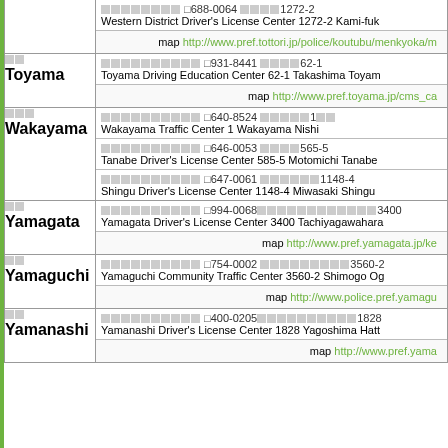| Prefecture | Center Info |
| --- | --- |
| (partial top row) | Western District Driver's License Center 1272-2 Kami-fuk... | map http://www.pref.tottori.jp/police/koutubu/menkyoka/m |
| □□ Toyama | □□□□□□□□□□ □931-8441 □□□□62-1 | Toyama Driving Education Center 62-1 Takashima Toyam... | map http://www.pref.toyama.jp/cms_ca |
| □□□ Wakayama | □□□□□□□□□□ □640-8524 □□□□□1□□ | Wakayama Traffic Center 1 Wakayama Nishi | □□□□□□□□□□ □646-0053 □□□□565-5 | Tanabe Driver's License Center 585-5 Motomichi Tanabe | □□□□□□□□□□ □647-0061 □□□□□□1148-4 | Shingu Driver's License Center 1148-4 Miwasaki Shingu |
| □□ Yamagata | □□□□□□□□□□ □994-0068□□□□□□□□□□□□□3400 | Yamagata Driver's License Center 3400 Tachiyagawahara... | map http://www.pref.yamagata.jp/ke |
| □□ Yamaguchi | □□□□□□□□□□ □754-0002 □□□□□□□□□3560-2 | Yamaguchi Community Traffic Center 3560-2 Shimogo Og... | map http://www.police.pref.yamagu |
| □□ Yamanashi | □□□□□□□□□□ □400-0205□□□□□□□□□□1828 | Yamanashi Driver's License Center 1828 Yagoshima Hatt... | map http://www.pref.yama |